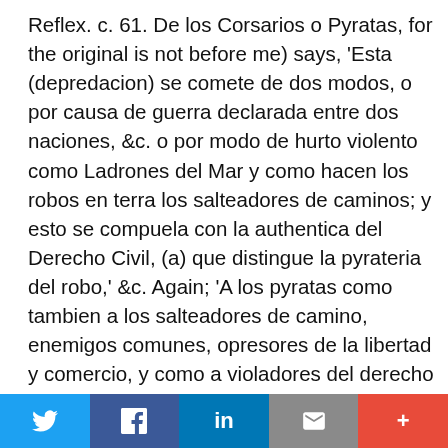Reflex. c. 61. De los Corsarios o Pyratas, for the original is not before me) says, 'Esta (depredacion) se comete de dos modos, o por causa de guerra declarada entre dos naciones, &c. o por modo de hurto violento como Ladrones del Mar y como hacen los robos en terra los salteadores de caminos; y esto se compuela con la authentica del Derecho Civil, (a) que distingue la pyrateria del robo,' &c. Again; 'A los pyratas como tambien a los salteadores de camino, enemigos comunes, opresores de la libertad y comercio, y como a violadores del derecho de las gentes, puede qualquiera oponerse y los ministros y subditos del principe pueden perseguir los y prender los aunque sea fuera del dominio y se hayan refugiado a los estados confinantes, sin que per esso quede violada la jurisdiccion; y presas que sean, se pendran en poder de la justicia de aquel Principe en cuyo estado han sido cogidos.' Again; 'Y assi concluyo, diciendo,
Social share bar with Twitter, Facebook, LinkedIn, Email, More buttons